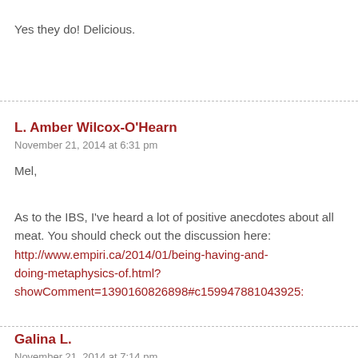Yes they do! Delicious.
L. Amber Wilcox-O'Hearn
November 21, 2014 at 6:31 pm
Mel,
As to the IBS, I've heard a lot of positive anecdotes about all meat. You should check out the discussion here: http://www.empiri.ca/2014/01/being-having-and-doing-metaphysics-of.html?showComment=1390160826898#c159947881043925:
Galina L.
November 21, 2014 at 7:14 pm
Everything is relative. My total cholesterol jumped 40